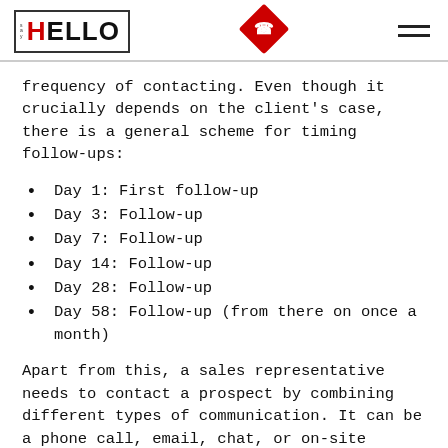HELLO
frequency of contacting. Even though it crucially depends on the client's case, there is a general scheme for timing follow-ups:
Day 1: First follow-up
Day 3: Follow-up
Day 7: Follow-up
Day 14: Follow-up
Day 28: Follow-up
Day 58: Follow-up (from there on once a month)
Apart from this, a sales representative needs to contact a prospect by combining different types of communication. It can be a phone call, email, chat, or on-site visit.